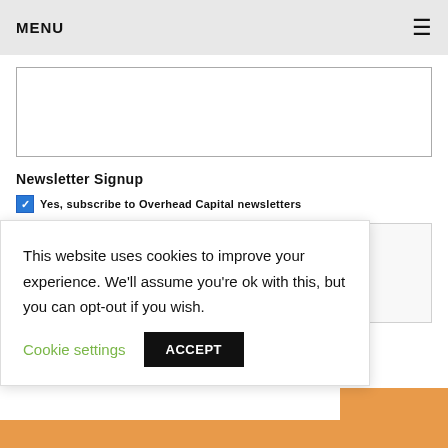MENU
[Figure (other): Empty textarea input box]
Newsletter Signup
Yes, subscribe to Overhead Capital newsletters
[Figure (screenshot): Cookie consent banner: This website uses cookies to improve your experience. We'll assume you're ok with this, but you can opt-out if you wish. Cookie settings | ACCEPT button]